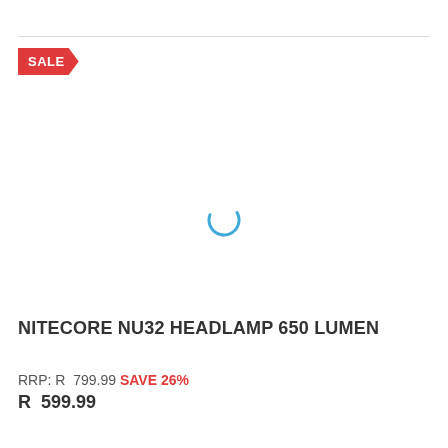[Figure (other): SALE banner/badge in red with white text, arrow-shaped pointing right]
[Figure (other): Loading spinner icon — a blue partial circle arc indicating content is loading]
NITECORE NU32 HEADLAMP 650 LUMEN
RRP: R  799.99 SAVE 26%
R  599.99